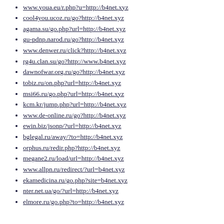www.youa.eu/r.php?u=http://b4net.xyz
cool4you.ucoz.ru/go?http://b4net.xyz
agama.su/go.php?url=http://b4net.xyz
gu-pdnp.narod.ru/go?http://b4net.xyz
www.denwer.ru/click?http://b4net.xyz
rg4u.clan.su/go?http://www.b4net.xyz
dawnofwar.org.ru/go?http://b4net.xyz
tobiz.ru/on.php?url=http://b4net.xyz
msi66.ru/go.php?url=http://b4net.xyz
kcm.kr/jump.php?url=http://b4net.xyz
www.de-online.ru/go?http://b4net.xyz
ewin.biz/jsonp/?url=http://b4net.xyz
bglegal.ru/away/?to=http://b4net.xyz
orphus.ru/redir.php?http://b4net.xyz
megane2.ru/load/url=http://b4net.xyz
www.allpn.ru/redirect/?url=b4net.xyz
ekamedicina.ru/go.php?site=b4net.xyz
nter.net.ua/go/?url=http://b4net.xyz
elmore.ru/go.php?to=http://b4net.xyz